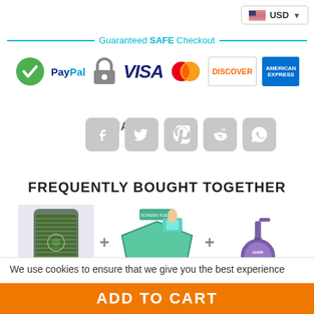[Figure (other): Currency selector showing US flag and USD dropdown in top right corner]
Guaranteed SAFE Checkout
[Figure (other): Payment method logos: green checkmark/SSL, PayPal, padlock/SSL, VISA, MasterCard, Discover, American Express]
SHARE:
[Figure (other): Social share buttons: Facebook, Twitter, Pinterest, Reddit, WhatsApp]
FREQUENTLY BOUGHT TOGETHER
[Figure (other): Three product images shown with plus signs between them: phone case, cleaning cloth product, hair care product]
We use cookies to ensure that we give you the best experience
ADD TO CART